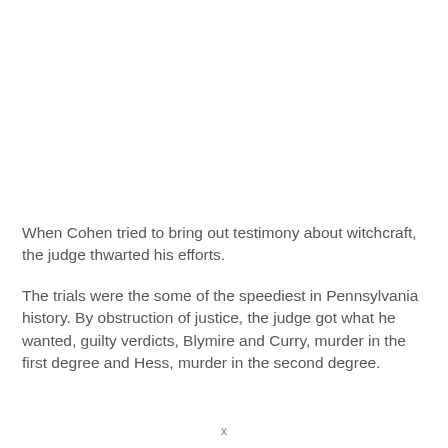When Cohen tried to bring out testimony about witchcraft, the judge thwarted his efforts.
The trials were the some of the speediest in Pennsylvania history. By obstruction of justice, the judge got what he wanted, guilty verdicts, Blymire and Curry, murder in the first degree and Hess, murder in the second degree.
x